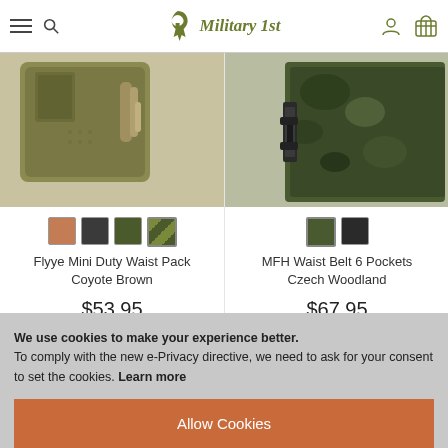Military 1st
[Figure (photo): Flyye Mini Duty Waist Pack in olive/tan color, close-up product photo]
[Figure (photo): MFH Waist Belt 6 Pockets in Czech Woodland camouflage, close-up product photo]
Flyye Mini Duty Waist Pack Coyote Brown
$53.95
MFH Waist Belt 6 Pockets Czech Woodland
$67.95
We use cookies to make your experience better. To comply with the new e-Privacy directive, we need to ask for your consent to set the cookies. Learn more
Allow Cookies